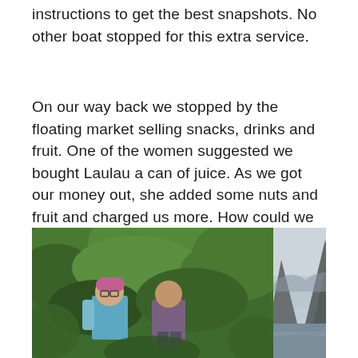instructions to get the best snapshots. No other boat stopped for this extra service.
On our way back we stopped by the floating market selling snacks, drinks and fruit. One of the women suggested we bought Laulau a can of juice. As we got our money out, she added some nuts and fruit and charged us more. How could we refuse? He was giving us a great trip.
[Figure (photo): Two people (hikers) among green tropical vegetation on the left; a dramatic karst limestone mountain rising from misty water on the right — likely Ha Long Bay scenery.]